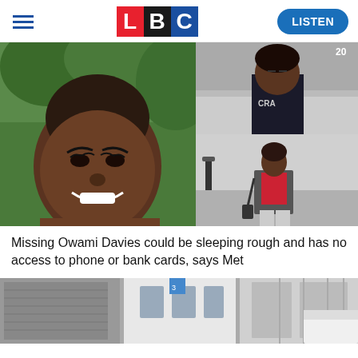[Figure (logo): LBC logo with L in red, B in black, C in blue squares, hamburger menu on left, LISTEN button on right]
[Figure (photo): Composite of three photos: left large photo of Owami Davies smiling outdoors, top right CCTV image of person at counter, bottom right CCTV image of woman in dark jacket and grey trousers walking on street]
Missing Owami Davies could be sleeping rough and has no access to phone or bank cards, says Met
[Figure (photo): Partial bottom image showing a street scene with buildings]